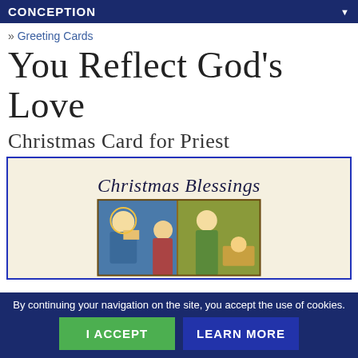CONCEPTION
» Greeting Cards
You Reflect God's Love
Christmas Card for Priest
[Figure (illustration): A greeting card image with 'Christmas Blessings' in old English calligraphy above a stained-glass style nativity scene illustration on a cream background, surrounded by a blue border.]
By continuing your navigation on the site, you accept the use of cookies.
I ACCEPT
LEARN MORE